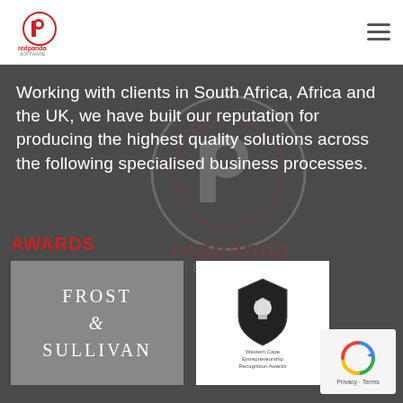Red Panda Software - header with logo and navigation
Working with clients in South Africa, Africa and the UK, we have built our reputation for producing the highest quality solutions across the following specialised business processes.
AWARDS
[Figure (logo): Frost & Sullivan award logo on grey background]
[Figure (logo): Western Cape Entrepreneurship Recognition Awards logo on white background]
100%
CONTACT US